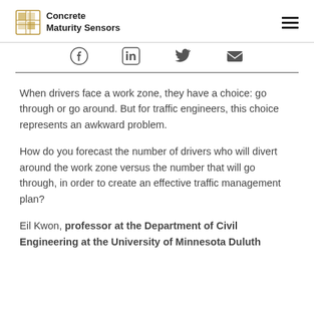Concrete Maturity Sensors
[Figure (logo): Concrete Maturity Sensors logo with grid icon and hamburger menu]
[Figure (infographic): Social share bar with Facebook, LinkedIn, Twitter, and email icons]
When drivers face a work zone, they have a choice: go through or go around. But for traffic engineers, this choice represents an awkward problem.
How do you forecast the number of drivers who will divert around the work zone versus the number that will go through, in order to create an effective traffic management plan?
Eil Kwon, professor at the Department of Civil Engineering at the University of Minnesota Duluth